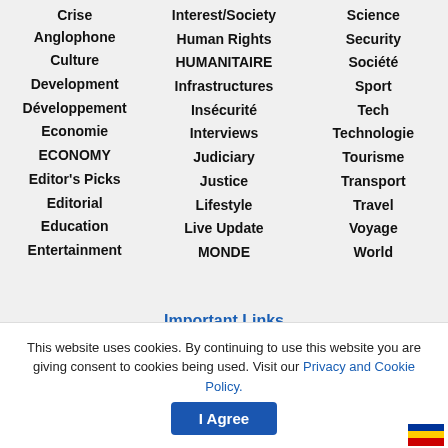Crise Anglophone
Culture
Development
Développement
Economie
ECONOMY
Editor's Picks
Editorial
Education
Entertainment
Interest/Society
Human Rights
HUMANITAIRE
Infrastructures
Insécurité
Interviews
Judiciary
Justice
Lifestyle
Live Update
MONDE
Science
Security
Société
Sport
Tech
Technologie
Tourisme
Transport
Travel
Voyage
World
Important Links
Term of Use
This website uses cookies. By continuing to use this website you are giving consent to cookies being used. Visit our Privacy and Cookie Policy.